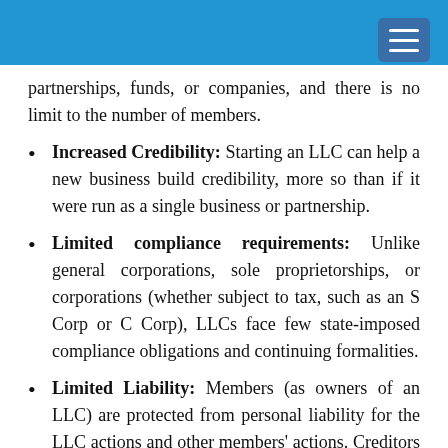partnerships, funds, or companies, and there is no limit to the number of members.
Increased Credibility: Starting an LLC can help a new business build credibility, more so than if it were run as a single business or partnership.
Limited compliance requirements: Unlike general corporations, sole proprietorships, or corporations (whether subject to tax, such as an S Corp or C Corp), LLCs face few state-imposed compliance obligations and continuing formalities.
Limited Liability: Members (as owners of an LLC) are protected from personal liability for the LLC actions and other members' actions. Creditors cannot track the personal assets (house, savings accounts, etc.) of owners